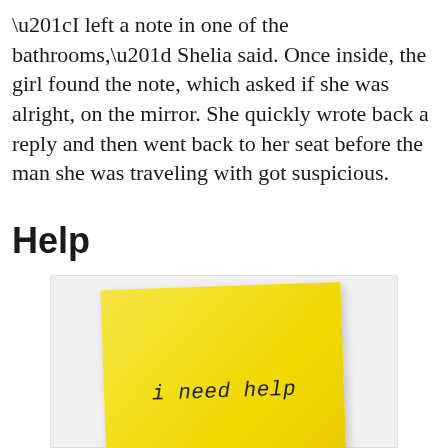“I left a note in one of the bathrooms,” Shelia said. Once inside, the girl found the note, which asked if she was alright, on the mirror. She quickly wrote back a reply and then went back to her seat before the man she was traveling with got suspicious.
Help
[Figure (photo): A yellow sticky note with handwritten text reading 'i need help', slightly rotated, on a light grey background.]